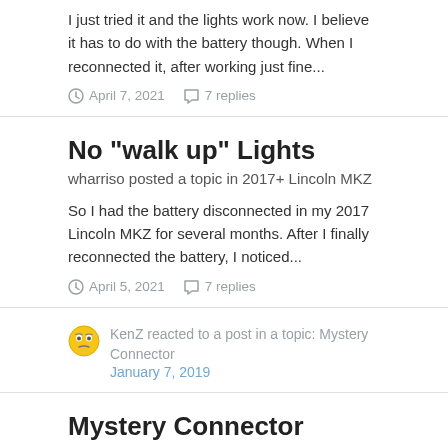I just tried it and the lights work now. I believe it has to do with the battery though. When I reconnected it, after working just fine...
April 7, 2021   7 replies
No "walk up" Lights
wharriso posted a topic in 2017+ Lincoln MKZ
So I had the battery disconnected in my 2017 Lincoln MKZ for several months. After I finally reconnected the battery, I noticed...
April 5, 2021   7 replies
KenZ reacted to a post in a topic: Mystery Connector
January 7, 2019
Mystery Connector
wharriso posted a topic in Interior
Hi Guys! So the driver's side seat heater stopped working and I